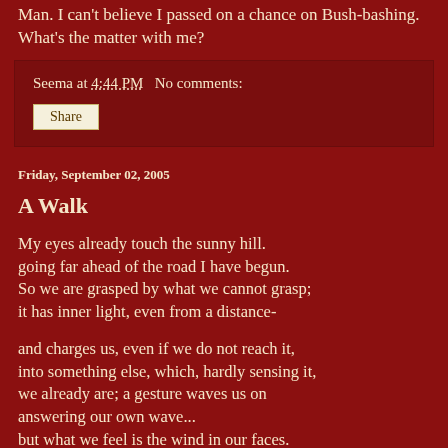Man. I can't believe I passed on a chance on Bush-bashing. What's the matter with me?
Seema at 4:44 PM   No comments:
Share
Friday, September 02, 2005
A Walk
My eyes already touch the sunny hill.
going far ahead of the road I have begun.
So we are grasped by what we cannot grasp;
it has inner light, even from a distance-
and charges us, even if we do not reach it,
into something else, which, hardly sensing it,
we already are; a gesture waves us on
answering our own wave...
but what we feel is the wind in our faces.